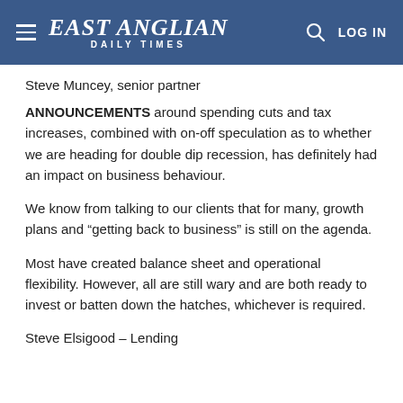EAST ANGLIAN DAILY TIMES
Steve Muncey, senior partner
ANNOUNCEMENTS around spending cuts and tax increases, combined with on-off speculation as to whether we are heading for double dip recession, has definitely had an impact on business behaviour.
We know from talking to our clients that for many, growth plans and “getting back to business” is still on the agenda.
Most have created balance sheet and operational flexibility. However, all are still wary and are both ready to invest or batten down the hatches, whichever is required.
Steve Elsigood – Lending